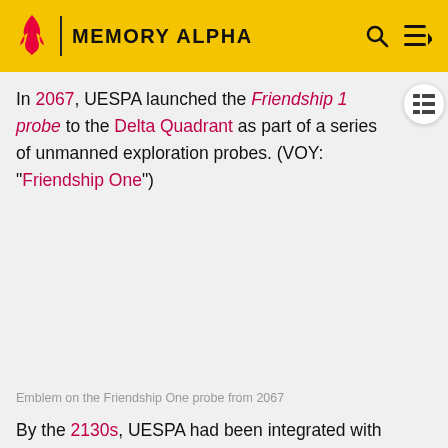MEMORY ALPHA
In 2067, UESPA launched the Friendship 1 probe to the Delta Quadrant as part of a series of unmanned exploration probes. (VOY: "Friendship One")
Emblem on the Friendship One probe from 2067
By the 2130s, UESPA had been integrated with Starfleet as the leading United Earth space exploration service. Together, UESPA and Starfleet accomplished many missions. (ENT: "First Flight")